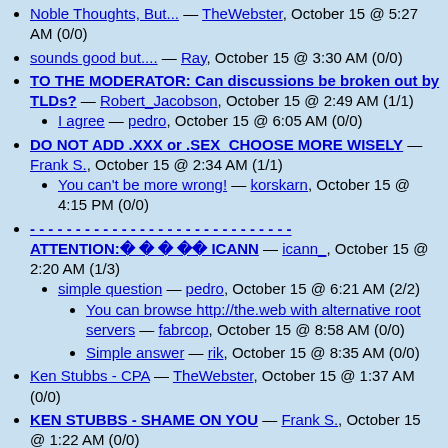Noble Thoughts, But... — TheWebster, October 15 @ 5:27 AM (0/0)
sounds good but.... — Ray, October 15 @ 3:30 AM (0/0)
TO THE MODERATOR: Can discussions be broken out by TLDs? — Robert_Jacobson, October 15 @ 2:49 AM (1/1)
I agree — pedro, October 15 @ 6:05 AM (0/0)
DO NOT ADD .XXX or .SEX  CHOOSE MORE WISELY — Frank S., October 15 @ 2:34 AM (1/1)
You can't be more wrong! — korskarn, October 15 @ 4:15 PM (0/0)
- - - - - - - - - - - - - - - - - - - - - - - - - - - - ATTENTION:     ICANN — icann_, October 15 @ 2:20 AM (1/3)
simple question — pedro, October 15 @ 6:21 AM (2/2)
You can browse http://the.web with alternative root servers — fabrcop, October 15 @ 8:58 AM (0/0)
Simple answer — rik, October 15 @ 8:35 AM (0/0)
Ken Stubbs - CPA — TheWebster, October 15 @ 1:37 AM (0/0)
KEN STUBBS - SHAME ON YOU — Frank S., October 15 @ 1:22 AM (0/0)
Praise to IOP — ?, October 15 @ 1:12 AM (0/0)